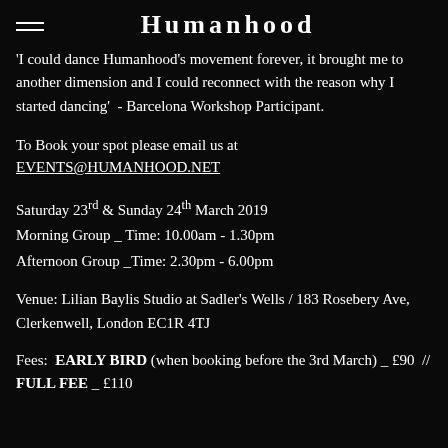Humanhood
'I could dance Humanhood's movement forever, it brought me to another dimension and I could reconnect with the reason why I started dancing'  - Barcelona Workshop Participant.
To Book your spot please email us at EVENTS@HUMANHOOD.NET
Saturday 23rd & Sunday 24th March 2019
Morning Group _ Time: 10.00am - 1.30pm
Afternoon Group _Time: 2.30pm - 6.00pm
Venue: Lilian Baylis Studio at Sadler's Wells / 183 Rosebery Ave, Clerkenwell, London EC1R 4TJ
Fees:  EARLY BIRD (when booking before the 3rd March) _ £90  //  FULL FEE _ £110